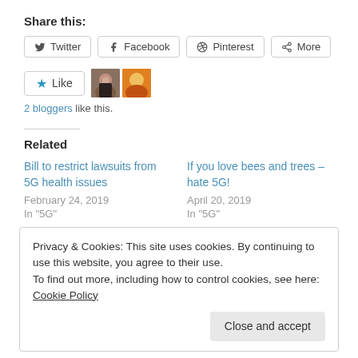Share this:
Twitter  Facebook  Pinterest  More
[Figure (other): Like button with star icon and two blogger avatar thumbnails]
2 bloggers like this.
Related
Bill to restrict lawsuits from 5G health issues
February 24, 2019
In "5G"
If you love bees and trees – hate 5G!
April 20, 2019
In "5G"
Privacy & Cookies: This site uses cookies. By continuing to use this website, you agree to their use.
To find out more, including how to control cookies, see here: Cookie Policy